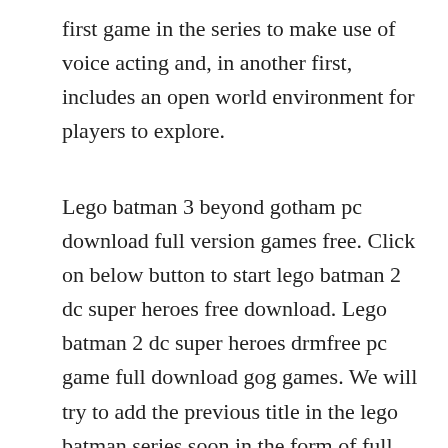first game in the series to make use of voice acting and, in another first, includes an open world environment for players to explore.
Lego batman 3 beyond gotham pc download full version games free. Click on below button to start lego batman 2 dc super heroes free download. Lego batman 2 dc super heroes drmfree pc game full download gog games. We will try to add the previous title in the lego batman series soon in the form of full version of lego batman 2 dc super heroes pc download which will be available later here. Lego